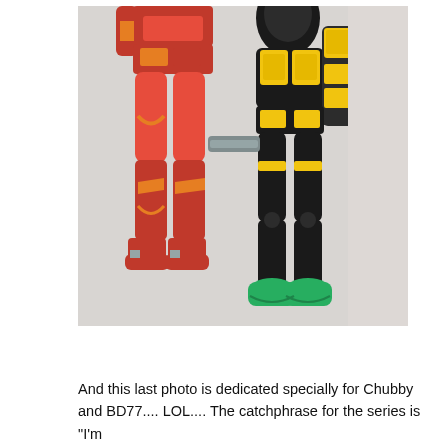[Figure (photo): Two action figures standing side by side. The left figure is a red and gold armored robot (Iron Man style). The right figure is a black armored robot with yellow accents and green feet/boots. Both figures are photographed from roughly the waist down against a light gray background.]
And this last photo is dedicated specially for Chubby and BD77.... LOL.... The catchphrase for the series is "I'm